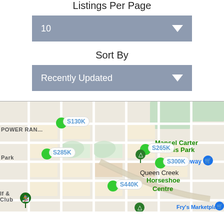Listings Per Page
[Figure (screenshot): Dropdown selector showing value '10' with a down arrow, grey background]
Sort By
[Figure (screenshot): Dropdown selector showing 'Recently Updated' with a down arrow, grey background]
[Figure (map): Google Maps style map showing Queen Creek area with green pins labeled S130K, S285K, S265K, S300K, S440K, and landmarks Mansel Carter Oasis Park, Power Ranch, Horseshoe Centre, Safeway, Fry's Marketplace]